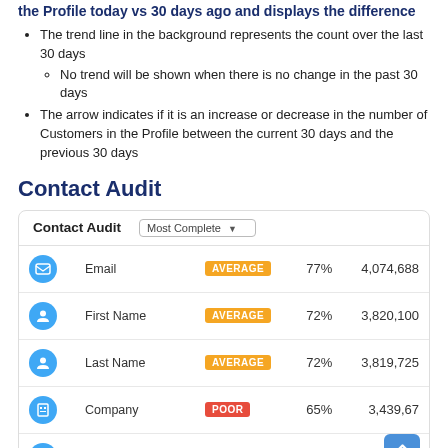the Profile today vs 30 days ago and displays the difference
The trend line in the background represents the count over the last 30 days
No trend will be shown when there is no change in the past 30 days
The arrow indicates if it is an increase or decrease in the number of Customers in the Profile between the current 30 days and the previous 30 days
Contact Audit
|  | Field | Rating | Pct | Count |
| --- | --- | --- | --- | --- |
| Email icon | Email | AVERAGE | 77% | 4,074,688 |
| Person icon | First Name | AVERAGE | 72% | 3,820,100 |
| Person icon | Last Name | AVERAGE | 72% | 3,819,725 |
| Building icon | Company | POOR | 65% | 3,439,67… |
| Home icon | Mailing Address | POOR | 65% | 3,439,256 |